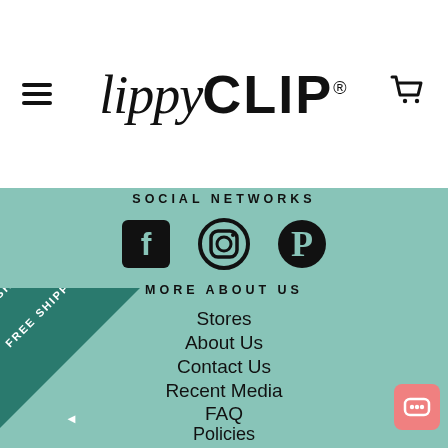[Figure (logo): LippyClip brand logo in black with lippy in italic cursive and CLIP in bold uppercase, with registered trademark symbol]
SOCIAL NETWORKS
[Figure (infographic): Three social media icons: Facebook (F in square), Instagram (camera outline in circle), Pinterest (P in circle)]
MORE ABOUT US
Stores
About Us
Contact Us
Recent Media
FAQ
Policies
Affiliate Program
[Figure (infographic): FREE SHIPPING badge as diagonal teal/dark teal triangle banner in bottom left corner]
[Figure (infographic): Pink chat/message bubble icon in bottom right corner]